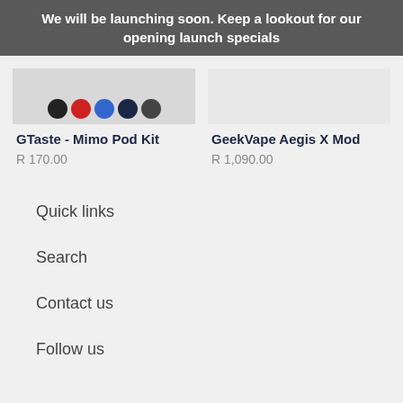We will be launching soon. Keep a lookout for our opening launch specials
[Figure (photo): Product image of GTaste - Mimo Pod Kit showing color swatches (black, red, blue, dark blue, black) at bottom]
GTaste - Mimo Pod Kit
R 170.00
[Figure (photo): Product image of GeekVape Aegis X Mod, light gray/white background]
GeekVape Aegis X Mod
R 1,090.00
Quick links
Search
Contact us
Follow us